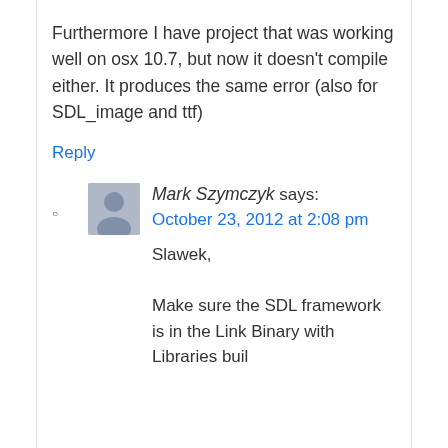Furthermore I have project that was working well on osx 10.7, but now it doesn't compile either. It produces the same error (also for SDL_image and ttf)
Reply
Mark Szymczyk says:
October 23, 2012 at 2:08 pm
Slawek,
Make sure the SDL framework is in the Link Binary with Libraries buil...